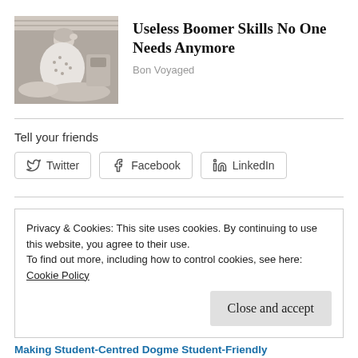[Figure (photo): Black and white vintage photo of a woman in a floral dress looking stressed or overwhelmed, with laundry or household items around her.]
Useless Boomer Skills No One Needs Anymore
Bon Voyaged
Tell your friends
Twitter
Facebook
LinkedIn
Privacy & Cookies: This site uses cookies. By continuing to use this website, you agree to their use.
To find out more, including how to control cookies, see here:
Cookie Policy
Close and accept
Making Student-Centred Dogme Student-Friendly